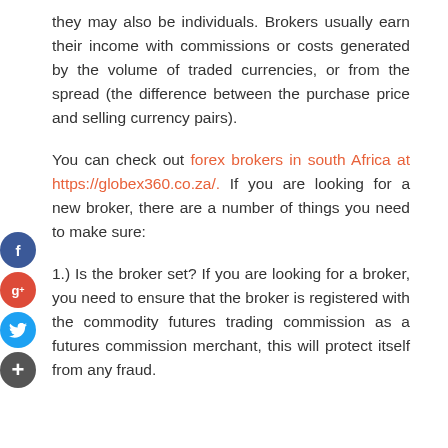they may also be individuals. Brokers usually earn their income with commissions or costs generated by the volume of traded currencies, or from the spread (the difference between the purchase price and selling currency pairs).
You can check out forex brokers in south Africa at https://globex360.co.za/. If you are looking for a new broker, there are a number of things you need to make sure:
1.) Is the broker set? If you are looking for a broker, you need to ensure that the broker is registered with the commodity futures trading commission as a futures commission merchant, this will protect itself from any fraud.